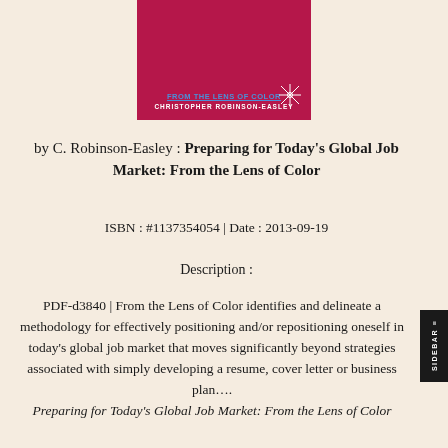[Figure (illustration): Book cover for 'Preparing for Today's Global Job Market: From the Lens of Color' by Christopher Robinson-Easley, with a crimson/magenta background and author name in white uppercase letters.]
by C. Robinson-Easley : Preparing for Today's Global Job Market: From the Lens of Color
ISBN : #1137354054 | Date : 2013-09-19
Description :
PDF-d3840 | From the Lens of Color identifies and delineates a methodology for effectively positioning and/or repositioning oneself in today's global job market that moves significantly beyond strategies associated with simply developing a resume, cover letter or business plan.... Preparing for Today's Global Job Market: From the Lens of Color